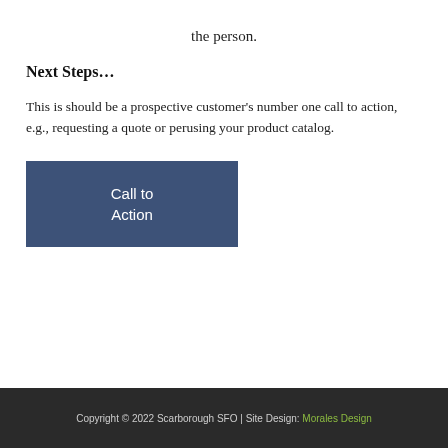the person.
Next Steps…
This is should be a prospective customer's number one call to action, e.g., requesting a quote or perusing your product catalog.
[Figure (other): Dark blue/slate button labeled 'Call to Action']
Copyright © 2022 Scarborough SFO | Site Design: Morales Design